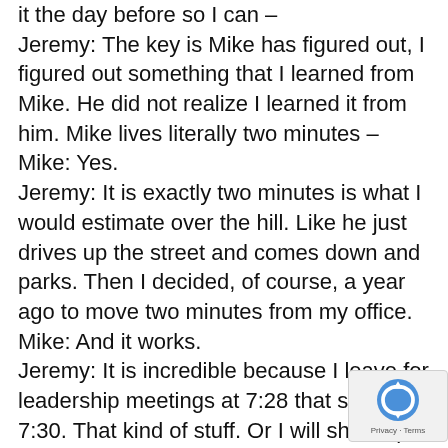it the day before so I can –
Jeremy: The key is Mike has figured out, I figured out something that I learned from Mike. He did not realize I learned it from him. Mike lives literally two minutes –
Mike: Yes.
Jeremy: It is exactly two minutes is what I would estimate over the hill. Like he just drives up the street and comes down and parks. Then I decided, of course, a year ago to move two minutes from my office.
Mike: And it works.
Jeremy: It is incredible because I leave for leadership meetings at 7:28 that start at 7:30. That kind of stuff. Or I will show up in my, I shot a live video on Facebook yesterday from my bike trainer, and I got off at 7:25, and then I went into the office to a meeting. Because I could just run home and shower. It is no big deal. So, this is amazing. 3000 games. All these years on the air with the Open Mike Show. Who do you remember, is there anyone that you remember specifically that came in the studio besides people that you like locally? You love interviewing the
[Figure (other): reCAPTCHA badge with logo and Privacy - Terms text]